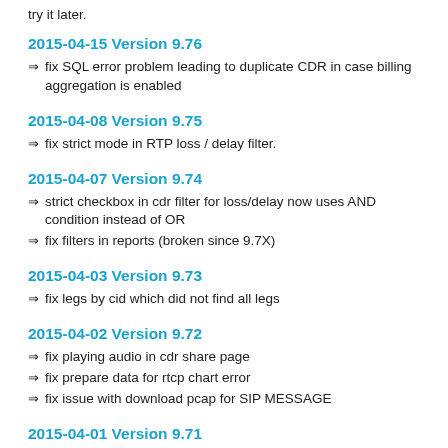try it later.
2015-04-15 Version 9.76
fix SQL error problem leading to duplicate CDR in case billing aggregation is enabled
2015-04-08 Version 9.75
fix strict mode in RTP loss / delay filter.
2015-04-07 Version 9.74
strict checkbox in cdr filter for loss/delay now uses AND condition instead of OR
fix filters in reports (broken since 9.7X)
2015-04-03 Version 9.73
fix legs by cid which did not find all legs
2015-04-02 Version 9.72
fix playing audio in cdr share page
fix prepare data for rtcp chart error
fix issue with download pcap for SIP MESSAGE
2015-04-01 Version 9.71